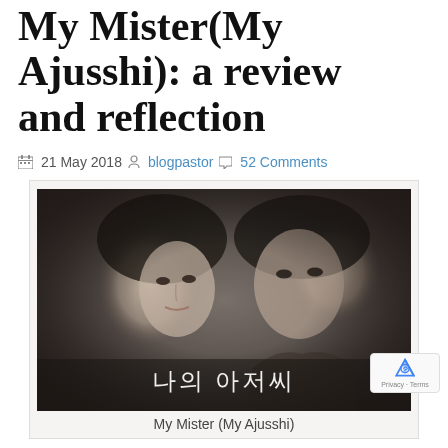My Mister(My Ajusshi): a review and reflection
21 May 2018  blogpastor  52 Comments
[Figure (photo): Promotional image for Korean drama 'My Mister (My Ajusshi)' showing two actors — a young woman and a middle-aged man — in a moody, close-up cinematic shot, with Korean text '나의 아저씨' overlaid at the bottom.]
My Mister (My Ajusshi)
I have never written a reflection about a Korean